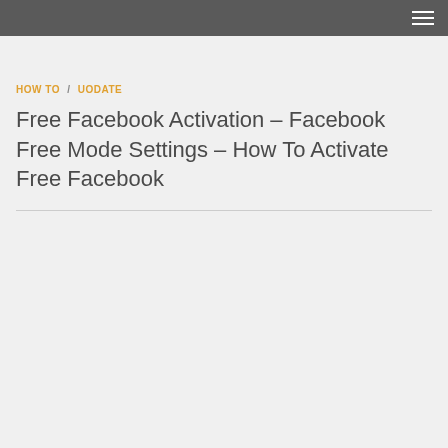≡
HOW TO / UODATE
Free Facebook Activation – Facebook Free Mode Settings – How To Activate Free Facebook